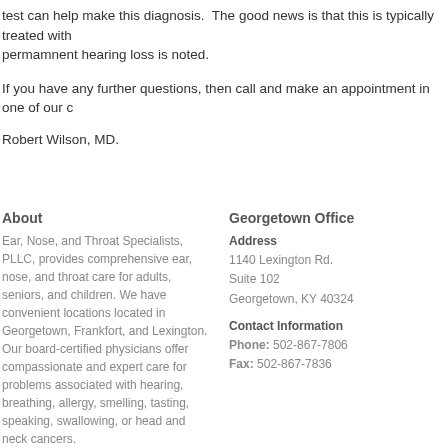test can help make this diagnosis.  The good news is that this is typically treated with permamnent hearing loss is noted.
If you have any further questions, then call and make an appointment in one of our c
Robert Wilson, MD.
About
Ear, Nose, and Throat Specialists, PLLC, provides comprehensive ear, nose, and throat care for adults, seniors, and children. We have convenient locations located in Georgetown, Frankfort, and Lexington. Our board-certified physicians offer compassionate and expert care for problems associated with hearing, breathing, allergy, smelling, tasting, speaking, swallowing, or head and neck cancers.
Georgetown Office
Address
1140 Lexington Rd.
Suite 102
Georgetown, KY 40324
Contact Information
Phone: 502-867-7806
Fax: 502-867-7836